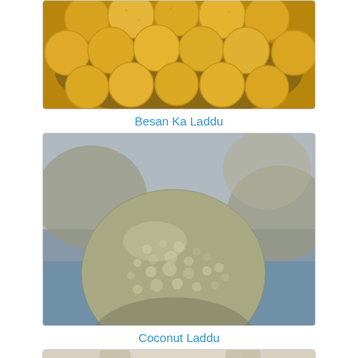[Figure (photo): Photo of Besan Ka Laddu - yellow/golden round sweet balls arranged on a plate]
Besan Ka Laddu
[Figure (photo): Close-up photo of Coconut Laddu - textured white/grey coconut sweet ball in foreground with more balls blurred in background]
Coconut Laddu
[Figure (photo): Partial photo of a third laddu variety at bottom of page, partially cut off]